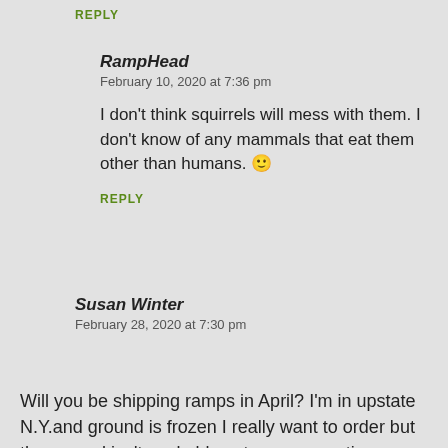REPLY
RampHead
February 10, 2020 at 7:36 pm
I don't think squirrels will mess with them. I don't know of any mammals that eat them other than humans. 🙂
REPLY
Susan Winter
February 28, 2020 at 7:30 pm
Will you be shipping ramps in April? I'm in upstate N.Y.and ground is frozen I really want to order but the ground isn't workable yet any suggestions on what to do